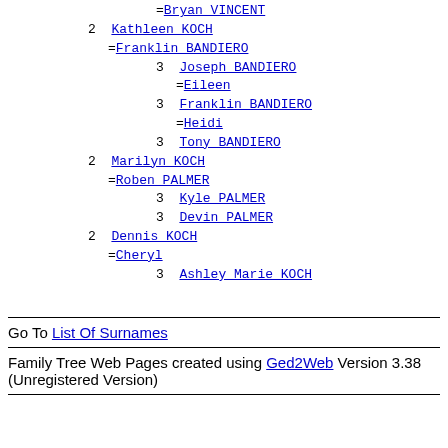=Bryan VINCENT
2 Kathleen KOCH
=Franklin BANDIERO
3 Joseph BANDIERO
=Eileen
3 Franklin BANDIERO
=Heidi
3 Tony BANDIERO
2 Marilyn KOCH
=Roben PALMER
3 Kyle PALMER
3 Devin PALMER
2 Dennis KOCH
=Cheryl
3 Ashley Marie KOCH
Go To List Of Surnames
Family Tree Web Pages created using Ged2Web Version 3.38 (Unregistered Version)